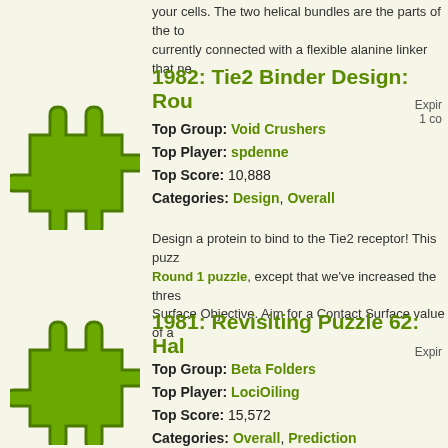your cells. The two helical bundles are the parts of the to currently connected with a flexible alanine linker that ne
[Figure (illustration): Green puzzle piece icon for puzzle 1982]
1982: Tie2 Binder Design: Rou
Expires... 1 co
Top Group: Void Crushers
Top Player: spdenne
Top Score: 10,888
Categories: Design, Overall
Design a protein to bind to the Tie2 receptor! This puzz Round 1 puzzle, except that we've increased the thresh Surface Objective. Aim for a Contact Surface value of a
[Figure (illustration): Green puzzle piece icon for puzzle 1981]
1981: Revisiting Puzzle 62: Hal
Expires...
Top Group: Beta Folders
Top Player: LociOiling
Top Score: 15,572
Categories: Overall, Prediction
This is a throwback puzzle to the early days of Foldit. Th absorb light and use the energy to transfer chloride ions membrane. We are revisiting old Foldit puzzles so we ca recent additions to the game have been.
[Figure (illustration): Green puzzle piece icon for puzzle 1980]
1980: Symmetric Tetramer Desi Networks